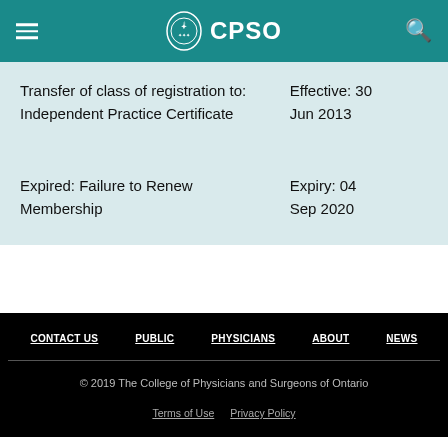CPSO
| Action | Date |
| --- | --- |
| Transfer of class of registration to: Independent Practice Certificate | Effective: 30 Jun 2013 |
| Expired: Failure to Renew Membership | Expiry: 04 Sep 2020 |
CONTACT US  PUBLIC  PHYSICIANS  ABOUT  NEWS
© 2019 The College of Physicians and Surgeons of Ontario
Terms of Use  Privacy Policy